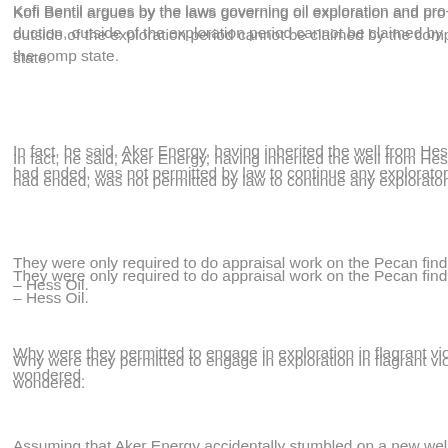Kofi Bentil argues by the laws governing oil exploration and production, outside of the exploration period cannot be claimed by the company but the state.
In fact, he said, Aker Energy, having inherited the well from Hess after the period had ended, was not permitted by law to continue any exploratory activities.
They were only required to do appraisal work on the Pecan find discovered by – Hess Oil.
Why were they permitted to engage in exploration in flagrant violation of the law, he wondered.
Assuming that Aker Energy accidentally stumbled on a new well, the company was legally obligated to announce this to the government for a renegotiation of its stake.
Kofi Bentil said that has not happened in this case.